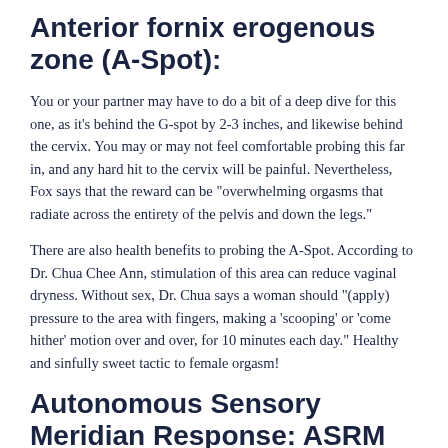Anterior fornix erogenous zone (A-Spot):
You or your partner may have to do a bit of a deep dive for this one, as it's behind the G-spot by 2-3 inches, and likewise behind the cervix. You may or may not feel comfortable probing this far in, and any hard hit to the cervix will be painful. Nevertheless, Fox says that the reward can be “overwhelming orgasms that radiate across the entirety of the pelvis and down the legs.”
There are also health benefits to probing the A-Spot. According to Dr. Chua Chee Ann, stimulation of this area can reduce vaginal dryness. Without sex, Dr. Chua says a woman should “(apply) pressure to the area with fingers, making a ‘scooping’ or ‘come hither’ motion over and over, for 10 minutes each day.” Healthy and sinfully sweet tactic to female orgasm!
Autonomous Sensory Meridian Response: ASRM  (Eargasm):